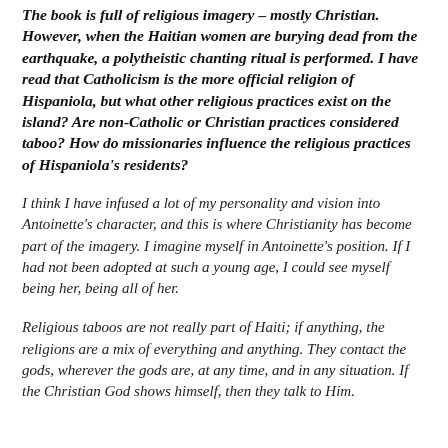The book is full of religious imagery – mostly Christian. However, when the Haitian women are burying dead from the earthquake, a polytheistic chanting ritual is performed. I have read that Catholicism is the more official religion of Hispaniola, but what other religious practices exist on the island? Are non-Catholic or Christian practices considered taboo? How do missionaries influence the religious practices of Hispaniola's residents?
I think I have infused a lot of my personality and vision into Antoinette's character, and this is where Christianity has become part of the imagery. I imagine myself in Antoinette's position. If I had not been adopted at such a young age, I could see myself being her, being all of her.
Religious taboos are not really part of Haiti; if anything, the religions are a mix of everything and anything. They contact the gods, wherever the gods are, at any time, and in any situation. If the Christian God shows himself, then they talk to Him. If it's the Buddhist, or if it's the voodoo, or whatever it is...